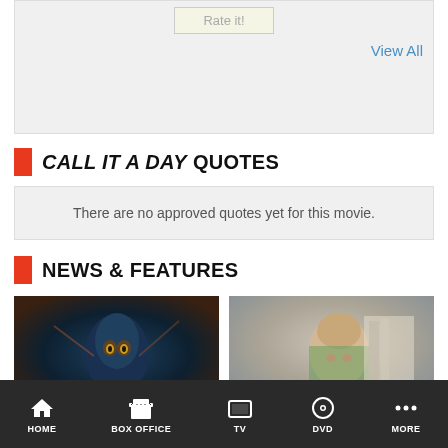Rate it!
View All
CALL IT A DAY QUOTES
There are no approved quotes yet for this movie.
NEWS & FEATURES
[Figure (photo): Movie still from Avatar showing a blue Na'vi character with yellow eyes]
[Figure (photo): Movie still showing a man with surprised expression, bookshelves in background]
HOME   BOX OFFICE   TV   DVD   MORE